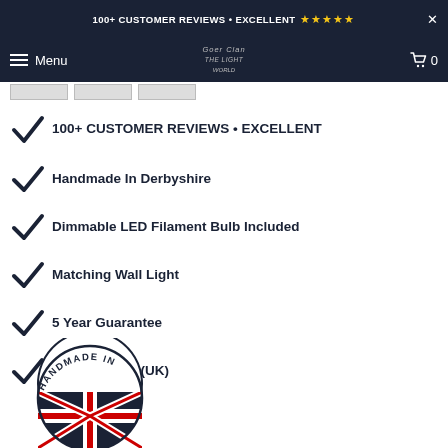100+ CUSTOMER REVIEWS • EXCELLENT ★★★★★
[Figure (screenshot): Navigation bar with hamburger menu icon, Menu text, company logo centered, and cart icon with 0]
[Figure (other): Three thumbnail image placeholders in a row]
100+ CUSTOMER REVIEWS • EXCELLENT
Handmade In Derbyshire
Dimmable LED Filament Bulb Included
Matching Wall Light
5 Year Guarantee
Free Delivery (UK)
[Figure (logo): Handmade In UK badge with Union Jack flag design, circular stamp style]